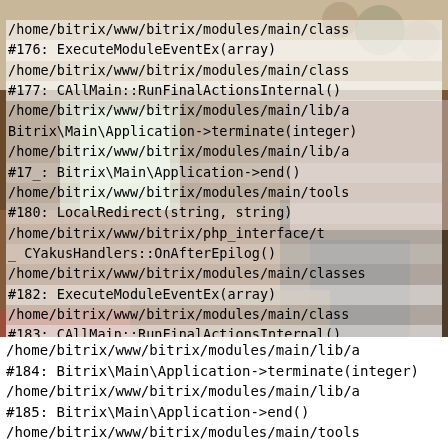[Figure (photo): Background photograph of a rustic wooden interior room with a fireplace, furniture, and kitchen items, overlaid with code text]
#176: ExecuteModuleEventEx(array)
      /home/bitrix/www/bitrix/modules/main/class
#177: CAllMain::RunFinalActionsInternal()
      /home/bitrix/www/bitrix/modules/main/lib/a
      Bitrix\Main\Application->terminate(integer)
      /home/bitrix/www/bitrix/modules/main/lib/a
#17_: Bitrix\Main\Application->end()
      /home/bitrix/www/bitrix/modules/main/tools
#180: LocalRedirect(string, string)
      /home/bitrix/www/bitrix/php_interface/t
_     CYakusHandlers::OnAfterEpilog()
      /home/bitrix/www/bitrix/modules/main/classes
#182: ExecuteModuleEventEx(array)
      /home/bitrix/www/bitrix/modules/main/class
#183: CAllMain::RunFinalActionsInternal()
      /home/bitrix/www/bitrix/modules/main/lib/a
#184: Bitrix\Main\Application->terminate(integer)
      /home/bitrix/www/bitrix/modules/main/lib/a
#185: Bitrix\Main\Application->end()
      /home/bitrix/www/bitrix/modules/main/tools